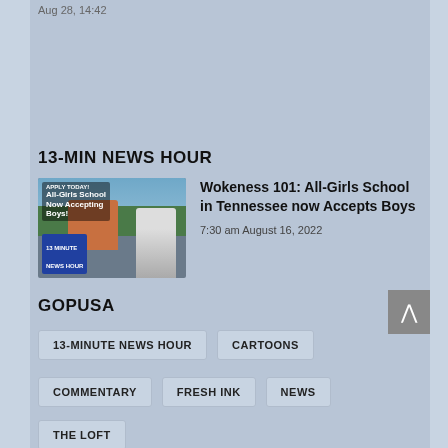Aug 28, 14:42
13-MIN NEWS HOUR
[Figure (photo): Thumbnail image for news story about all-girls school now accepting boys, showing a school building and a person giving thumbs up]
Wokeness 101: All-Girls School in Tennessee now Accepts Boys
7:30 am August 16, 2022
GOPUSA
13-MINUTE NEWS HOUR
CARTOONS
COMMENTARY
FRESH INK
NEWS
THE LOFT